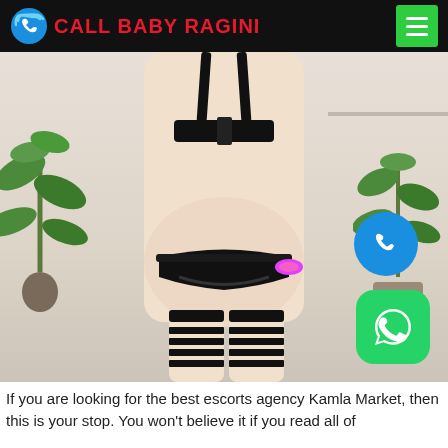CALL BABY RAGINI
[Figure (photo): Woman in black lingerie and stockings photographed from behind, with phone and WhatsApp call buttons overlaid on the right side of the image]
If you are looking for the best escorts agency Kamla Market, then this is your stop. You won't believe it if you read all of